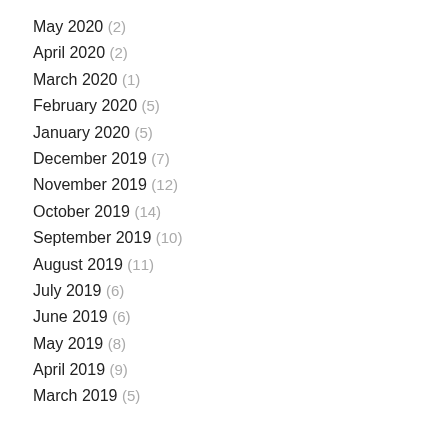May 2020 (2)
April 2020 (2)
March 2020 (1)
February 2020 (5)
January 2020 (5)
December 2019 (7)
November 2019 (12)
October 2019 (14)
September 2019 (10)
August 2019 (11)
July 2019 (6)
June 2019 (6)
May 2019 (8)
April 2019 (9)
March 2019 (5)